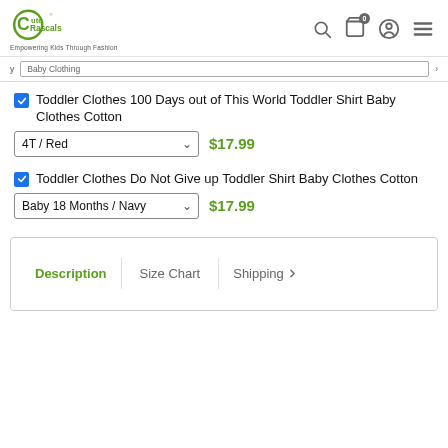Cute Rascals — Empowering Kids Through Fashion
Toddler Clothes 100 Days out of This World Toddler Shirt Baby Clothes Cotton — 4T / Red — $17.99
Toddler Clothes Do Not Give up Toddler Shirt Baby Clothes Cotton — Baby 18 Months / Navy — $17.99
Description | Size Chart | Shipping